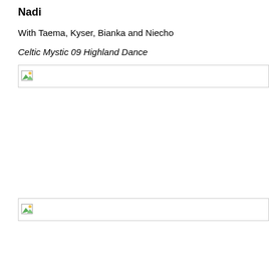Nadi
With Taema, Kyser, Bianka and Niecho
Celtic Mystic 09 Highland Dance
[Figure (photo): Broken image placeholder (first image, with border)]
[Figure (photo): Broken image placeholder (second image, with border)]